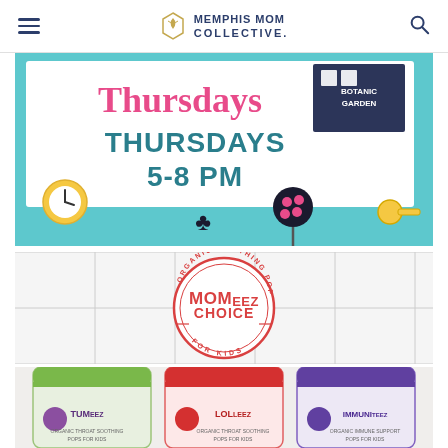Memphis Mom Collective
[Figure (illustration): Memphis Botanic Garden event banner for 'Thursdays 5-8 PM' with colorful cartoon icons on teal/white background with text THURSDAYS 5-8 PM and Botanic Garden logo]
[Figure (logo): Momeez Choice circular stamp logo reading 'Organic Soothing Pops - Momeez Choice - For Kids' in red/pink on white tile background]
[Figure (photo): Three product bags: Tumeez (green), Lolleez (red), and Immuniteez (purple) organic soothing pops for kids]